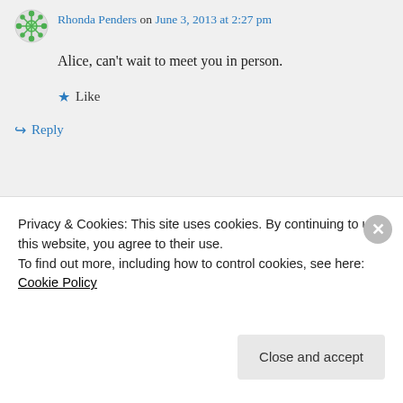Rhonda Penders on June 3, 2013 at 2:27 pm
Alice, can’t wait to meet you in person.
★ Like
↪ Reply
[Figure (screenshot): Advertisement banner with dark navy background showing text 'Fewer meetings, more work.' and a 'Get started for free' button]
Privacy & Cookies: This site uses cookies. By continuing to use this website, you agree to their use.
To find out more, including how to control cookies, see here: Cookie Policy
Close and accept